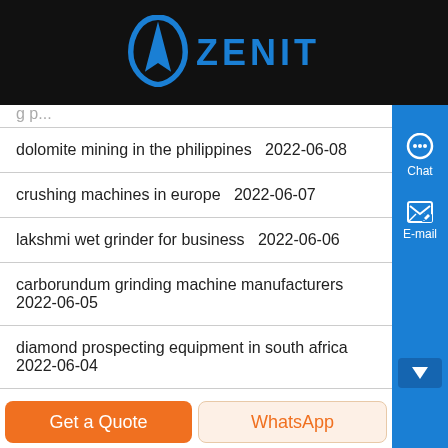ZENIT
dolomite mining in the philippines  2022-06-08
crushing machines in europe  2022-06-07
lakshmi wet grinder for business  2022-06-06
carborundum grinding machine manufacturers  2022-06-05
diamond prospecting equipment in south africa  2022-06-04
china mining equipment australian mills for sale  2022-06-03
You May Like